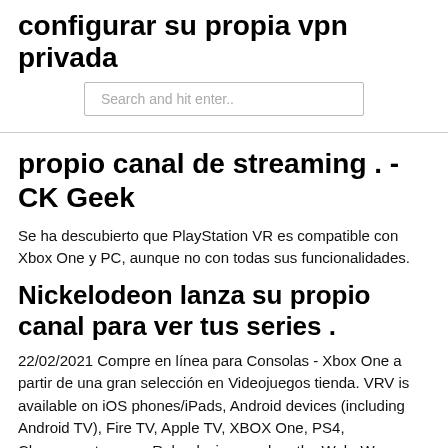configurar su propia vpn privada
Search and hit enter..
propio canal de streaming . - CK Geek
Se ha descubierto que PlayStation VR es compatible con Xbox One y PC, aunque no con todas sus funcionalidades.
Nickelodeon lanza su propio canal para ver tus series .
22/02/2021 Compre en línea para Consolas - Xbox One a partir de una gran selección en Videojuegos tienda. VRV is available on iOS phones/iPads, Android devices (including Android TV), Fire TV, Apple TV, XBOX One, PS4, Chromecast, newer Roku devices and on the Web. We are working to make VRV … Encuentra Vr Xbox One en Hidalgo en MercadoLibre.com.mx! Entre y conozca nuestras increíbles ofertas y promociones. Descubre la mejor forma de comprar